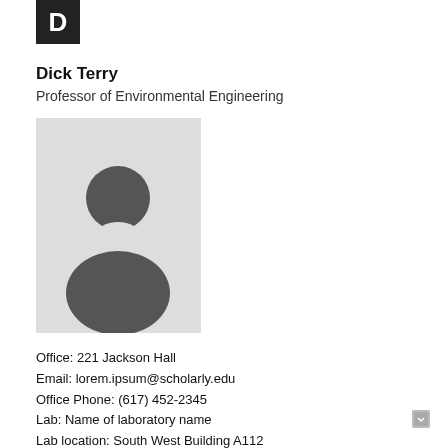[Figure (logo): Black square with white letter D]
Dick Terry
Professor of Environmental Engineering
[Figure (photo): Placeholder profile photo with grey background and person silhouette icon]
Office: 221 Jackson Hall
Email: lorem.ipsum@scholarly.edu
Office Phone: (617) 452-2345
Lab: Name of laboratory name
Lab location: South West Building A112